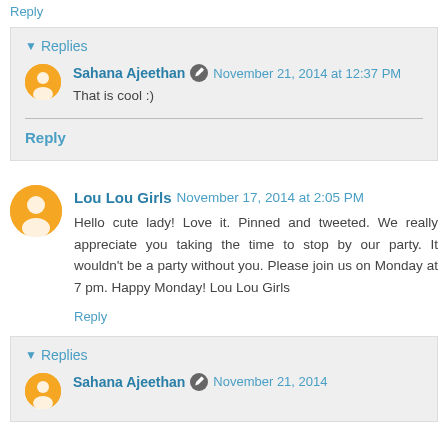Reply
Replies
Sahana Ajeethan  November 21, 2014 at 12:37 PM
That is cool :)
Reply
Lou Lou Girls  November 17, 2014 at 2:05 PM
Hello cute lady! Love it. Pinned and tweeted. We really appreciate you taking the time to stop by our party. It wouldn't be a party without you. Please join us on Monday at 7 pm. Happy Monday! Lou Lou Girls
Reply
Replies
Sahana Ajeethan  November 21, 2014